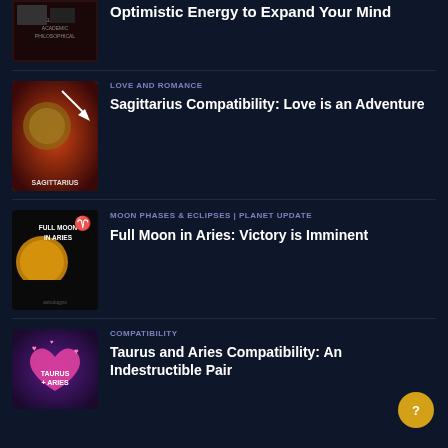[Figure (illustration): Book cover with intellectual/academic/philosophical theme, dark reddish tones]
Optimistic Energy to Expand Your Mind
[Figure (illustration): Sagittarius zodiac art with planet and archer imagery, fiery orange-red background, text SAGITTARIUS at bottom]
LOVE AND ROMANCE
Sagittarius Compatibility: Love is an Adventure
[Figure (illustration): Full moon in Aries dark themed image with golden moon and warrior figure, text FULL MOON IN ARIES]
MOON PHASES & ECLIPSES | PLANET UPDATE
Full Moon in Aries: Victory is Imminent
[Figure (illustration): Taurus and Aries compatibility image with pink heart on dark purple background, text TAURUS + ARIES]
COMPATIBILITY
Taurus and Aries Compatibility: An Indestructible Pair